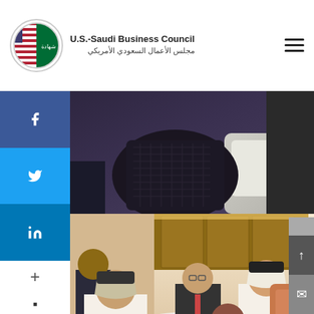U.S.-Saudi Business Council / مجلس الأعمال السعودي الأمريكي
[Figure (photo): Close-up photo of a dark crocodile leather handbag with a white sofa/chair visible in the background.]
[Figure (photo): Business meeting photo showing multiple men in business attire and traditional Saudi dress (thobe and ghutra) seated around a round table in a hotel meeting room. Documents and water bottles are on the table.]